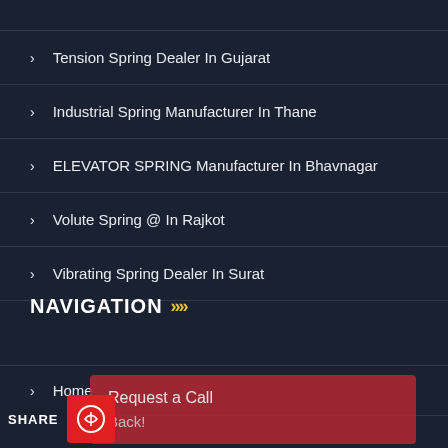Tension Spring Dealer In Gujarat
Industrial Spring Manufacturer In Thane
ELEVATOR SPRING Manufacturer In Bhavnagar
Volute Spring @ In Rajkot
Vibrating Spring Dealer In Surat
NAVIGATION
Home
Request a Call
Back!
t Us